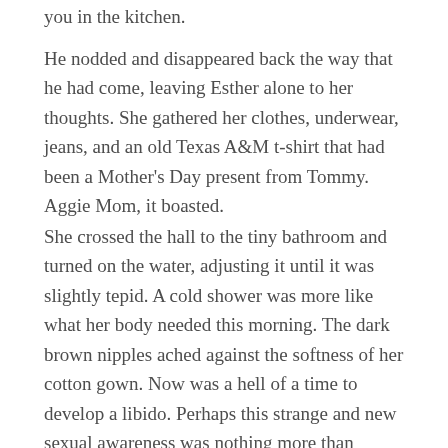you in the kitchen.
He nodded and disappeared back the way that he had come, leaving Esther alone to her thoughts. She gathered her clothes, underwear, jeans, and an old Texas A&M t-shirt that had been a Mother's Day present from Tommy. Aggie Mom, it boasted.
She crossed the hall to the tiny bathroom and turned on the water, adjusting it until it was slightly tepid. A cold shower was more like what her body needed this morning. The dark brown nipples ached against the softness of her cotton gown. Now was a hell of a time to develop a libido. Perhaps this strange and new sexual awareness was nothing more than perimenopause?